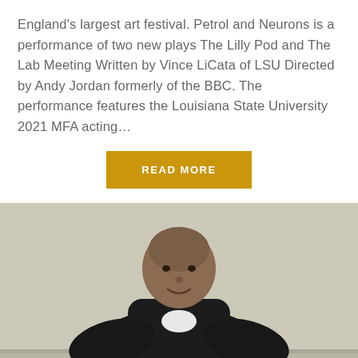England's largest art festival. Petrol and Neurons is a performance of two new plays The Lilly Pod and The Lab Meeting Written by Vince LiCata of LSU Directed by Andy Jordan formerly of the BBC. The performance features the Louisiana State University 2021 MFA acting...
READ MORE
[Figure (photo): A man wearing a black outfit with a white undershirt, sitting or leaning against a light-colored wall, smiling slightly, bald or closely shaved head.]